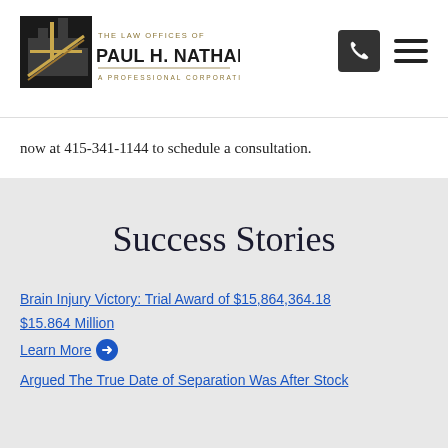[Figure (logo): The Law Offices of Paul H. Nathan, A Professional Corporation logo with building/bridge icon]
now at 415-341-1144 to schedule a consultation.
Success Stories
Brain Injury Victory: Trial Award of $15,864,364.18 $15.864 Million
Learn More →
Argued The True Date of Separation Was After Stock